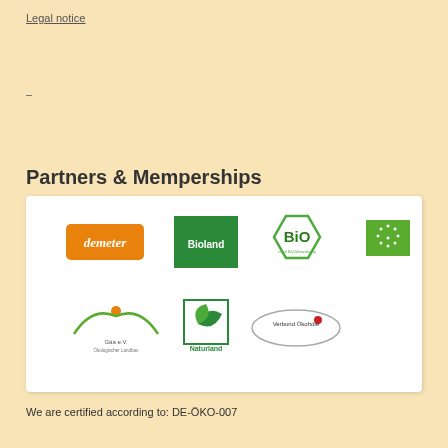Legal notice
–
Partners & Memperships
[Figure (logo): A white box containing 7 organic certification logos: demeter (orange background), Bioland (green square), BIO (green hexagon), EU organic (green rectangle with stars), Gäa e.V. (green hill/sun logo), Naturland (green leaf logo), Verbund Ökohofe (oval logo with red dot)]
We are certified according to: DE-ÖKO-007